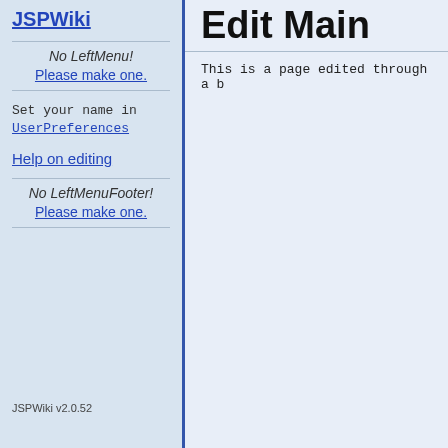JSPWiki
Edit Main
No LeftMenu! Please make one.
Set your name in UserPreferences
Help on editing
No LeftMenuFooter! Please make one.
This is a page edited through a b
JSPWiki v2.0.52